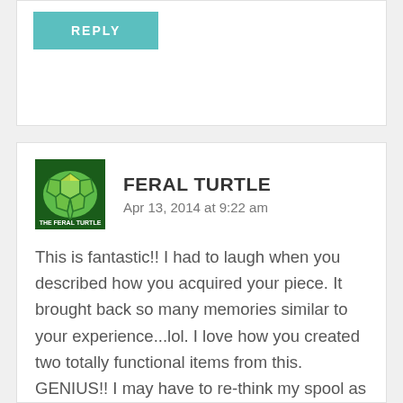[Figure (illustration): REPLY button in teal/turquoise color]
[Figure (photo): Avatar image of Feral Turtle - green turtle shell graphic]
FERAL TURTLE
Apr 13, 2014 at 9:22 am
This is fantastic!! I had to laugh when you described how you acquired your piece. It brought back so many memories similar to your experience...lol. I love how you created two totally functional items from this. GENIUS!! I may have to re-think my spool as I just have it sitting outside with the adirondack chairs as a table! I had to tell you too that I made a scrap wood letter similar to your W! I love it. Thanks for the great inspiration! Cheers.